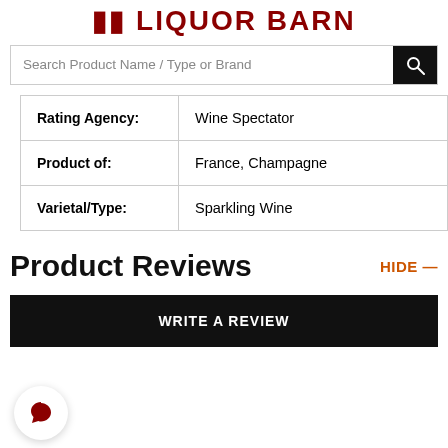LIQUOR BARN
Search Product Name / Type or Brand
| Rating Agency: | Wine Spectator |
| Product of: | France, Champagne |
| Varietal/Type: | Sparkling Wine |
Product Reviews
HIDE —
WRITE A REVIEW